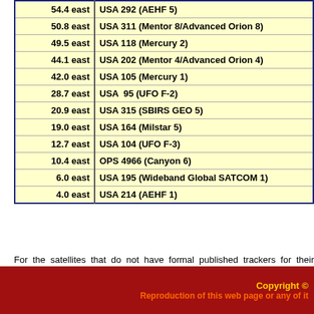| Position | Satellite |
| --- | --- |
| 54.4 east | USA 292 (AEHF 5) |
| 50.8 east | USA 311 (Mentor 8/Advanced Orion 8) |
| 49.5 east | USA 118 (Mercury 2) |
| 44.1 east | USA 202 (Mentor 4/Advanced Orion 4) |
| 42.0 east | USA 105 (Mercury 1) |
| 28.7 east | USA  95 (UFO F-2) |
| 20.9 east | USA 315 (SBIRS GEO 5) |
| 19.0 east | USA 164 (Milstar 5) |
| 12.7 east | USA 104 (UFO F-3) |
| 10.4 east | OPS 4966 (Canyon 6) |
| 6.0 east | USA 195 (Wideband Global SATCOM 1) |
| 4.0 east | USA 214 (AEHF 1) |
For the satellites that do not have formal published trackers for their observing, and particularly to Mike
Copyright © Reproduction of this web page or any of it